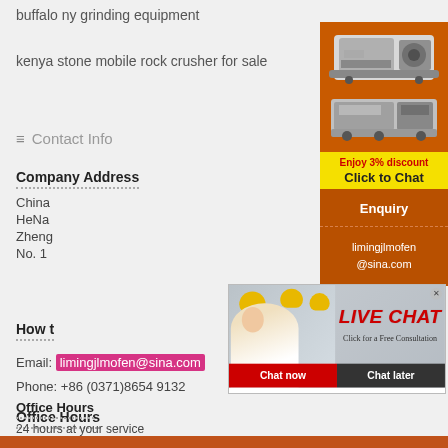buffalo ny grinding equipment
kenya stone mobile rock crusher for sale
Contact Info
Company Address
China
HeNa
Zheng
No. 1
How to
Email: limingjlmofen@sina.com
Phone: +86 (0371)8654 9132
Office Hours
24 hours at your service
[Figure (screenshot): Live chat popup overlay with workers in hard hats, red LIVE CHAT text, Chat now and Chat later buttons]
[Figure (infographic): Orange sidebar with mining machines images, Enjoy 3% discount / Click to Chat, Enquiry, limingjlmofen@sina.com]